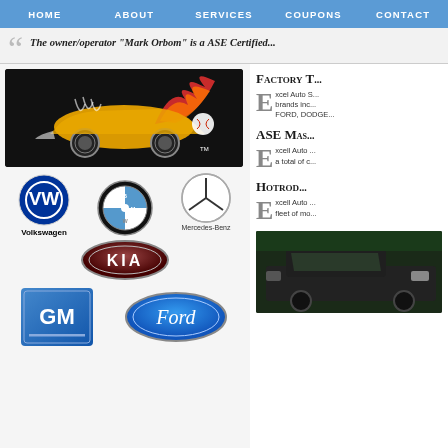HOME | ABOUT | SERVICES | COUPONS | CONTACT
The owner/operator "Mark Orbom" is a ASE Certified ...
[Figure (logo): Auto shop mascot logo - flaming car with baseballs on black background]
[Figure (logo): Volkswagen logo with text 'Volkswagen']
[Figure (logo): BMW circular blue/white logo]
[Figure (logo): Mercedes-Benz logo with text 'Mercedes-Benz']
[Figure (logo): KIA logo - red oval badge]
[Figure (logo): GM logo - blue square]
[Figure (logo): Ford logo - blue oval]
Factory T...
Xcell Auto S... brands inc... FORD, DODGE...
ASE Mas...
Xcell Auto ... a total of c...
HOTROD...
Xcell Auto ... fleet of mo...
[Figure (photo): Dark colored pickup truck front view]